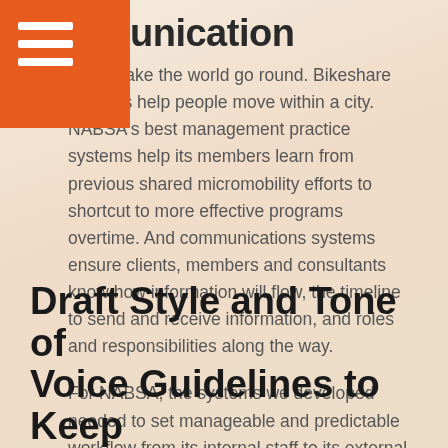communication
tems make the world go round. Bikeshare systems help people move within a city. NABSA's best management practice systems help its members learn from previous shared micromobility efforts to shortcut to more effective programs overtime. And communications systems ensure clients, members and consultants know how information will flow, the timeline to send and receive information, and roles and responsibilities along the way.
For NABSA, the systems we developed needed to set manageable and predictable workflow from its internal staff to its external consultants and advisory committees.
Draft Style and Tone of Voice Guidelines to Keep